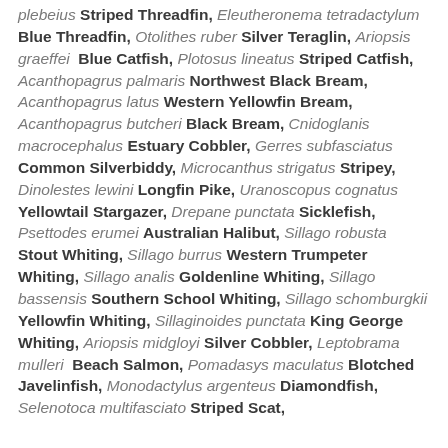plebeius Striped Threadfin, Eleutheronema tetradactylum Blue Threadfin, Otolithes ruber Silver Teraglin, Ariopsis graeffei Blue Catfish, Plotosus lineatus Striped Catfish, Acanthopagrus palmaris Northwest Black Bream, Acanthopagrus latus Western Yellowfin Bream, Acanthopagrus butcheri Black Bream, Cnidoglanis macrocephalus Estuary Cobbler, Gerres subfasciatus Common Silverbiddy, Microcanthus strigatus Stripey, Dinolestes lewini Longfin Pike, Uranoscopus cognatus Yellowtail Stargazer, Drepane punctata Sicklefish, Psettodes erumei Australian Halibut, Sillago robusta Stout Whiting, Sillago burrus Western Trumpeter Whiting, Sillago analis Goldenline Whiting, Sillago bassensis Southern School Whiting, Sillago schomburgkii Yellowfin Whiting, Sillaginoides punctata King George Whiting, Ariopsis midgloyi Silver Cobbler, Leptobrama mulleri Beach Salmon, Pomadasys maculatus Blotched Javelinfish, Monodactylus argenteus Diamondfish, Selenotoca multifasciato Striped Scat,